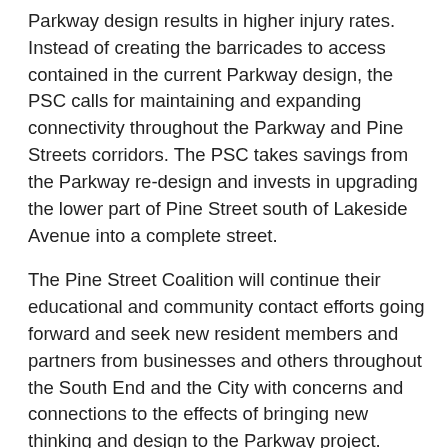Parkway design results in higher injury rates. Instead of creating the barricades to access contained in the current Parkway design, the PSC calls for maintaining and expanding connectivity throughout the Parkway and Pine Streets corridors. The PSC takes savings from the Parkway re-design and invests in upgrading the lower part of Pine Street south of Lakeside Avenue into a complete street.
The Pine Street Coalition will continue their educational and community contact efforts going forward and seek new resident members and partners from businesses and others throughout the South End and the City with concerns and connections to the effects of bringing new thinking and design to the Parkway project. Presenters at that February event and members of the newly formed PSC include long time Burlington Public Works Department director Steve Goodkind, Diane Gayer of the Vermont Design Institute, retired professor and Neighborhood Planning Assembly Steering Committee member Charles Simpson, and safe streets and roundabout advocate Tony Redington.
For information about the Pine Street Coalition see the